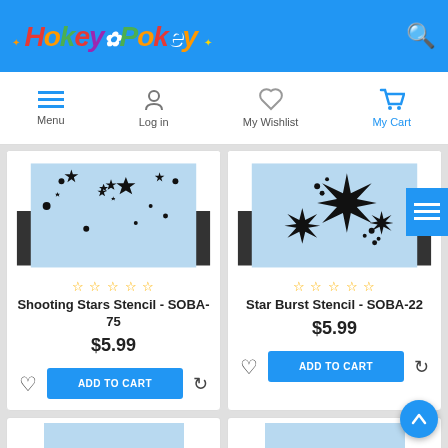HokeyPokey - Menu, Log in, My Wishlist, My Cart
[Figure (screenshot): Shooting Stars Stencil product image - black star pattern on light blue background]
★ ★ ★ ★ ★
Shooting Stars Stencil - SOBA-75
$5.99
ADD TO CART
[Figure (screenshot): Star Burst Stencil product image - starburst and sparkle pattern on light blue background]
★ ★ ★ ★ ★
Star Burst Stencil - SOBA-22
$5.99
ADD TO CART
[Figure (screenshot): Third product image partially visible at bottom]
[Figure (screenshot): Fourth product image partially visible at bottom]